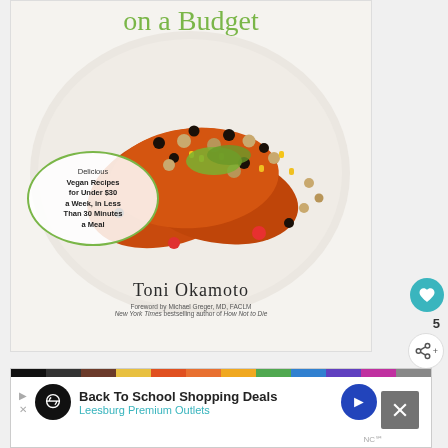[Figure (photo): Book cover showing 'on a Budget' title in green text at top, a food photo of roasted sweet potatoes topped with beans, corn, chickpeas, avocado and greens on a white plate, a circular green-bordered subtitle bubble reading 'Delicious Vegan Recipes for Under $30 a Week, in Less Than 30 Minutes a Meal', author name 'Toni Okamoto', and foreword credit by Michael Greger MD FACLM New York Times bestselling author of How Not to Die]
[Figure (screenshot): Advertisement banner for 'Back To School Shopping Deals' at Leesburg Premium Outlets with colorful bar at top, infinity-like logo, and navigation arrows]